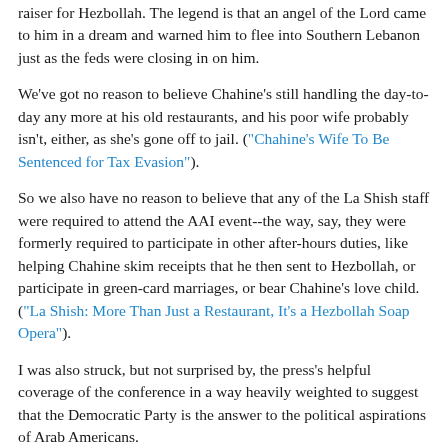raiser for Hezbollah. The legend is that an angel of the Lord came to him in a dream and warned him to flee into Southern Lebanon just as the feds were closing in on him.
We've got no reason to believe Chahine's still handling the day-to-day any more at his old restaurants, and his poor wife probably isn't, either, as she's gone off to jail. ("Chahine's Wife To Be Sentenced for Tax Evasion").
So we also have no reason to believe that any of the La Shish staff were required to attend the AAI event--the way, say, they were formerly required to participate in other after-hours duties, like helping Chahine skim receipts that he then sent to Hezbollah, or participate in green-card marriages, or bear Chahine's love child. ("La Shish: More Than Just a Restaurant, It's a Hezbollah Soap Opera").
I was also struck, but not surprised by, the press's helpful coverage of the conference in a way heavily weighted to suggest that the Democratic Party is the answer to the political aspirations of Arab Americans.
I was also struck by the big AAI site, from where and with...